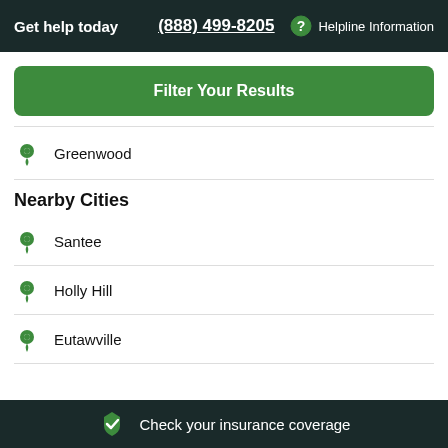Get help today  (888) 499-8205  Helpline Information
Filter Your Results
Greenwood
Nearby Cities
Santee
Holly Hill
Eutawville
Check your insurance coverage